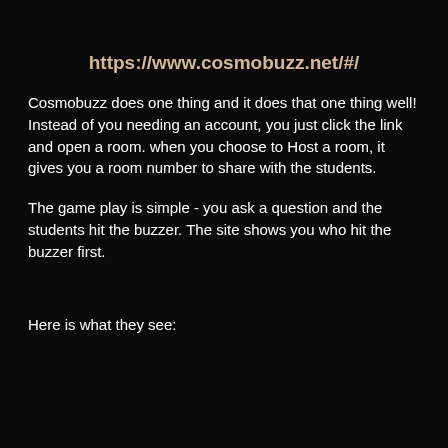https://www.cosmobuzz.net/#/
Cosmobuzz does one thing and it does that one thing well!  Instead of you needing an account, you just click the link and open a room.  when you choose to Host a room, it gives you a room number to share with the students.
The game play is simple - you ask a question and the students hit the buzzer.  The site shows you who hit the buzzer first.
Here is what they see: